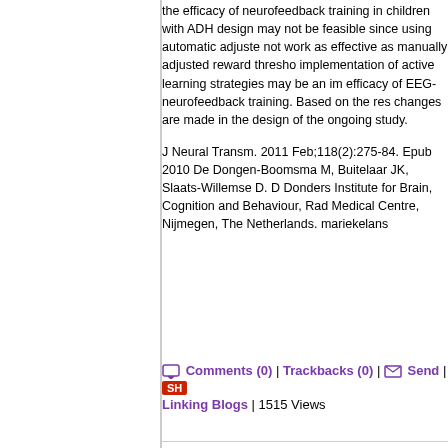the efficacy of neurofeedback training in children with ADH design may not be feasible since using automatic adjuste not work as effective as manually adjusted reward thresho implementation of active learning strategies may be an im efficacy of EEG-neurofeedback training. Based on the res changes are made in the design of the ongoing study.
J Neural Transm. 2011 Feb;118(2):275-84. Epub 2010 De Dongen-Boomsma M, Buitelaar JK, Slaats-Willemse D. D Donders Institute for Brain, Cognition and Behaviour, Rad Medical Centre, Nijmegen, The Netherlands. mariekelans
Comments (0) | Trackbacks (0) | Send | SH Linking Blogs | 1515 Views